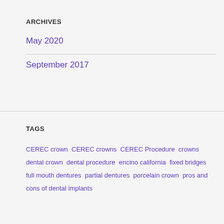ARCHIVES
May 2020
September 2017
TAGS
CEREC crown  CEREC crowns  CEREC Procedure  crowns  dental crown  dental procedure  encino california  fixed bridges  full mouth dentures  partial dentures  porcelain crown  pros and cons of dental implants